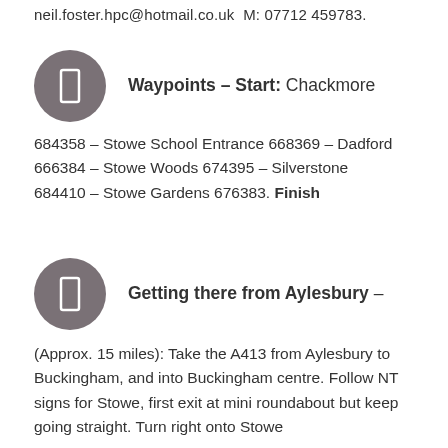neil.foster.hpc@hotmail.co.uk  M: 07712 459783.
[Figure (illustration): Grey circle icon with a white rectangle/flag symbol inside]
Waypoints – Start: Chackmore
684358 – Stowe School Entrance 668369 – Dadford 666384 – Stowe Woods 674395 – Silverstone 684410 – Stowe Gardens 676383. Finish
[Figure (illustration): Grey circle icon with a white rectangle/flag symbol inside]
Getting there from Aylesbury –
(Approx. 15 miles): Take the A413 from Aylesbury to Buckingham, and into Buckingham centre. Follow NT signs for Stowe, first exit at mini roundabout but keep going straight. Turn right onto Stowe